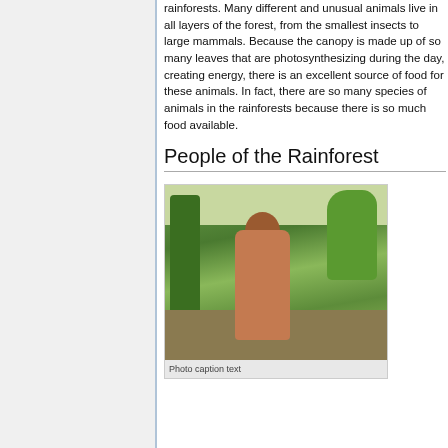rainforests. Many different and unusual animals live in all layers of the forest, from the smallest insects to large mammals. Because the canopy is made up of so many leaves that are photosynthesizing during the day, creating energy, there is an excellent source of food for these animals. In fact, there are so many species of animals in the rainforests because there is so much food available.
People of the Rainforest
[Figure (photo): A child holding a plant stalk standing in a tropical rainforest clearing with green vegetation in the background. Another child visible in the background.]
Photo caption text